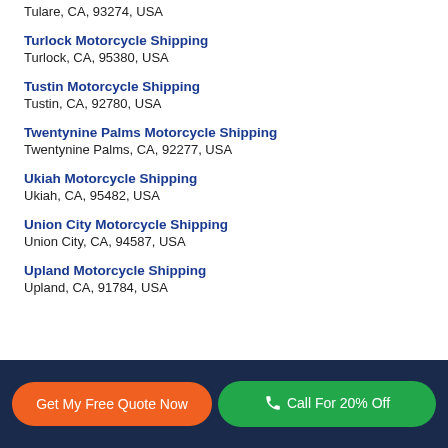Tulare, CA, 93274, USA
Turlock Motorcycle Shipping
Turlock, CA, 95380, USA
Tustin Motorcycle Shipping
Tustin, CA, 92780, USA
Twentynine Palms Motorcycle Shipping
Twentynine Palms, CA, 92277, USA
Ukiah Motorcycle Shipping
Ukiah, CA, 95482, USA
Union City Motorcycle Shipping
Union City, CA, 94587, USA
Upland Motorcycle Shipping
Upland, CA, 91784, USA
Get My Free Quote Now | Call For 20% Off